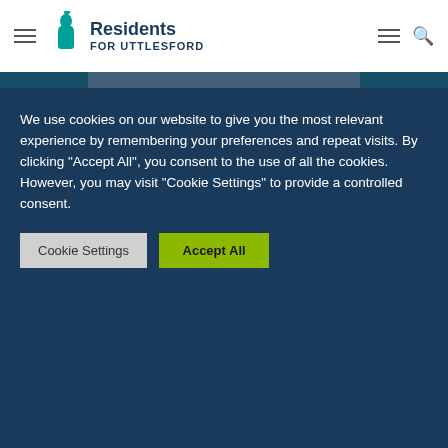Residents for Uttlesford
A new Aldi in Saffron Walden is exciting, but will it benefit the town?
Posted on July 17, 2015 by Dan Starr
A new Aldi has just opened up on the edge of Saffron Walden. It will provide competition, consumer choice, but will it pull footfall away from the town centre? I … read more →
We use cookies on our website to give you the most relevant experience by remembering your preferences and repeat visits. By clicking "Accept All", you consent to the use of all the cookies. However, you may visit "Cookie Settings" to provide a controlled consent.